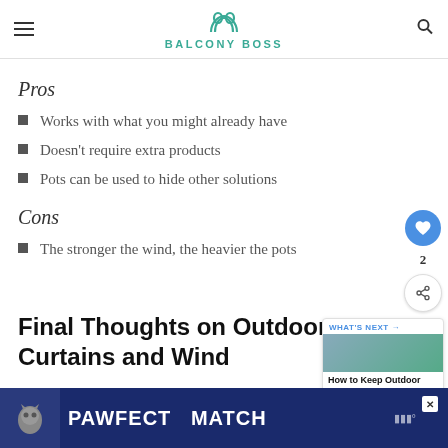BALCONY BOSS
Pros
Works with what you might already have
Doesn't require extra products
Pots can be used to hide other solutions
Cons
The stronger the wind, the heavier the pots
Final Thoughts on Outdoor Curtains and Wind
Hopefully, these solutions for how to keep outdoor curtains
[Figure (other): Ad banner: PAWFECT MATCH with cat image on dark blue background]